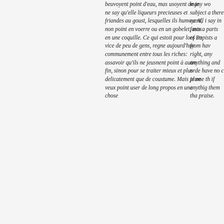beuvoyent point d'eau, mais usoyent de je ne say qu'elle liqueurs precieuses et friandes au goust, lesquelles ils humoyent, non point en voerre ou en un gobelet, mais en une coquille. Ce qui estoit pour lors un vice de peu de gens, regne aujourd'huy communement entre tous les riches: assavoir qu'ils ne jeusnent point à autre fin, sinon pour se traiter mieux et plus delicatement que de coustume. Mais je ne veux point user de long propos en une chose
many wo subject a there ca All I say in fasts a parts of Papists a from hav right, any anything and orde have no c plume th if anythig them tha praise.